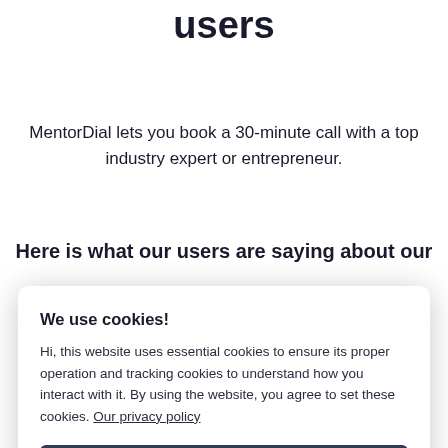Real reviews from real users
MentorDial lets you book a 30-minute call with a top industry expert or entrepreneur.
Here is what our users are saying about our
We use cookies!

Hi, this website uses essential cookies to ensure its proper operation and tracking cookies to understand how you interact with it. By using the website, you agree to set these cookies. Our privacy policy

Accept all